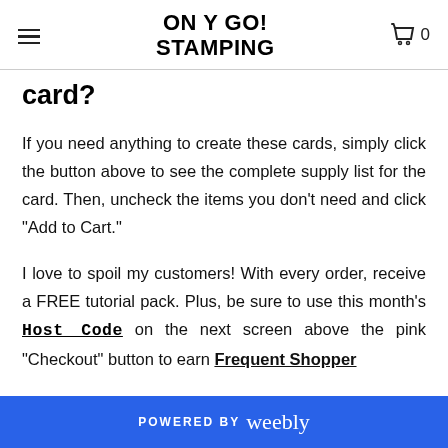ON Y GO! STAMPING
card?
If you need anything to create these cards, simply click the button above to see the complete supply list for the card. Then, uncheck the items you don't need and click "Add to Cart."
I love to spoil my customers! With every order, receive a FREE tutorial pack. Plus, be sure to use this month's Host Code on the next screen above the pink "Checkout" button to earn Frequent Shopper
POWERED BY weebly